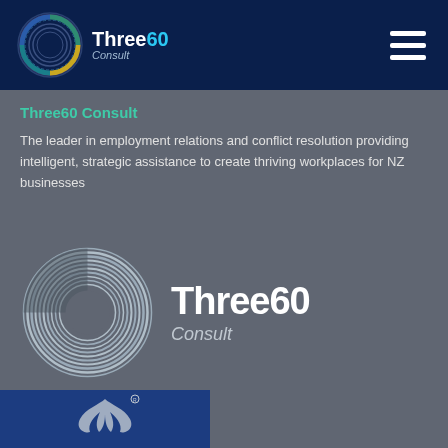[Figure (logo): Three60 Consult logo with circular multi-color ring and text 'Three60 Consult' on dark navy header bar]
[Figure (other): Hamburger menu icon (three horizontal white lines) in top right of header]
Three60 Consult
The leader in employment relations and conflict resolution providing intelligent, strategic assistance to create thriving workplaces for NZ businesses
[Figure (logo): Large Three60 Consult logo in white/grey on grey background, showing circular ring mark and text 'Three60 Consult']
[Figure (logo): Partial view of a blue logo at the bottom of the page, appears to show a silver fern or similar New Zealand symbol]